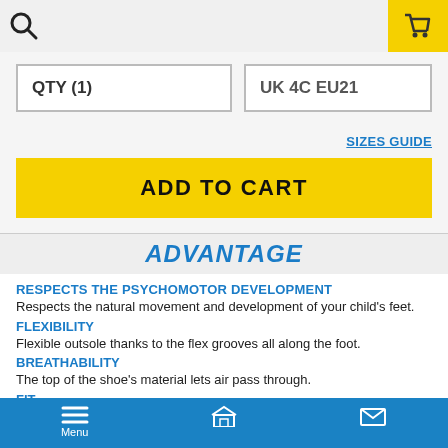Search bar and cart icon header
QTY (1)
UK 4C EU21
SIZES GUIDE
ADD TO CART
ADVANTAGE
RESPECTS THE PSYCHOMOTOR DEVELOPMENT
Respects the natural movement and development of your child's feet.
FLEXIBILITY
Flexible outsole thanks to the flex grooves all along the foot.
BREATHABILITY
The top of the shoe's material lets air pass through.
FIT
Menu